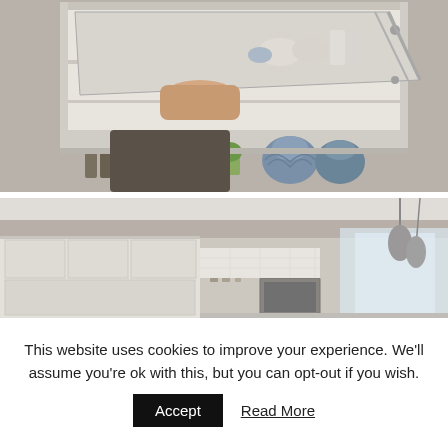[Figure (photo): A hand opening an overhead kitchen cabinet door upward, revealing shelves with dishes, glasses, and kitchen items. Decorative blue pumpkin-shaped vases sit on a lower shelf along with an orange bowl and a small plant.]
[Figure (photo): A modern kitchen interior with light-colored cabinets, open shelving, a window letting in natural light, and pendant lights hanging from the ceiling.]
This website uses cookies to improve your experience. We'll assume you're ok with this, but you can opt-out if you wish.
Accept
Read More